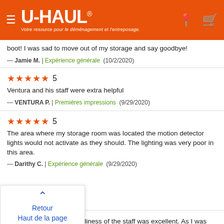[Figure (logo): U-Haul orange header with hamburger menu, U-HAUL logo with registered mark, tagline 'Votre resource pour le déménagement et l'entreposage.', location pin icon, and cart icon]
boot! I was sad to move out of my storage and say goodbye!
— Jamie M. | Expérience générale (10/2/2020)
★★★★★ 5
Ventura and his staff were extra helpful
— VENTURA P. | Premières impressions (9/29/2020)
★★★★★ 5
The area where my storage room was located the motion detector lights would not activate as they should. The lighting was very poor in this area.
— Darithy C. | Expérience générale (9/29/2020)
Retour
Haut de la page
The knowledge and friendliness of the staff was excellent. As I was